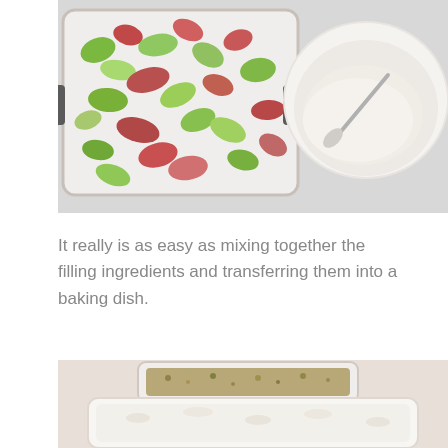[Figure (photo): Top-down view of a white baking dish filled with chopped rhubarb pieces (green and red), and a white bowl containing white flour/sugar with a spoon, on a light gray surface.]
It really is as easy as mixing together the filling ingredients and transferring them into a baking dish.
[Figure (photo): Partial top-down view of a white rectangular baking dish with crumble topping mixture, showing oat/nut topping being prepared, on a light background.]